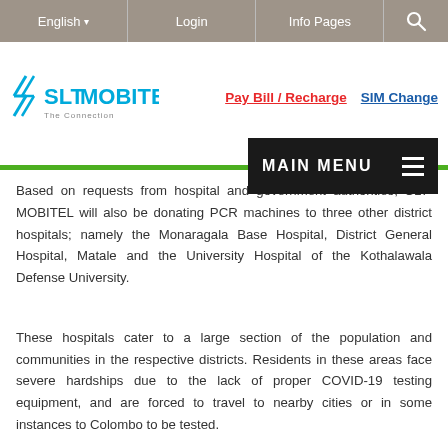English   Login   Info Pages   [search]
[Figure (logo): SLT Mobitel logo with tagline 'The Connection']
Pay Bill / Recharge   SIM Change
MAIN MENU
Based on requests from hospital and government authorities, SLT-MOBITEL will also be donating PCR machines to three other district hospitals; namely the Monaragala Base Hospital, District General Hospital, Matale and the University Hospital of the Kothalawala Defense University.
These hospitals cater to a large section of the population and communities in the respective districts. Residents in these areas face severe hardships due to the lack of proper COVID-19 testing equipment, and are forced to travel to nearby cities or in some instances to Colombo to be tested.